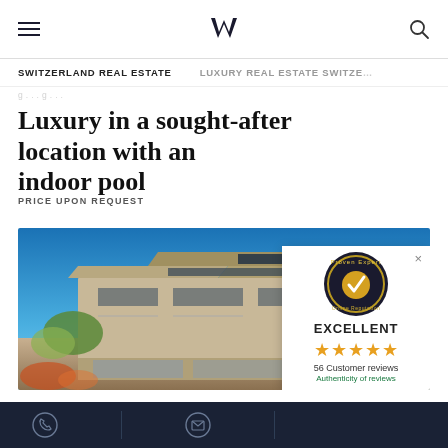SWITZERLAND REAL ESTATE   LUXURY REAL ESTATE SWITZE...
Luxury in a sought-after location with an indoor pool
PRICE UPON REQUEST
[Figure (photo): Exterior photo of a modern luxury villa/building with flat roofs, large windows, balconies, and surrounding greenery against a blue sky]
[Figure (other): ProvenExpert Online Reputation badge showing EXCELLENT rating with 5 stars, 56 Customer reviews, Authenticity of reviews]